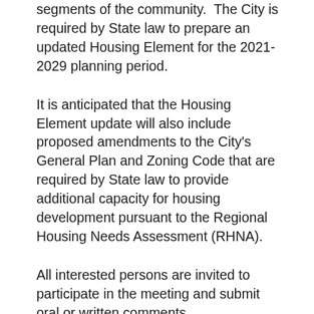segments of the community.  The City is required by State law to prepare an updated Housing Element for the 2021-2029 planning period.
It is anticipated that the Housing Element update will also include proposed amendments to the City's General Plan and Zoning Code that are required by State law to provide additional capacity for housing development pursuant to the Regional Housing Needs Assessment (RHNA).
All interested persons are invited to participate in the meeting and submit oral or written comments.
Written comments should be submitted via email prior to the meeting to Mario Suarez, Planning Manager at: msuarez@coltoncа.gov